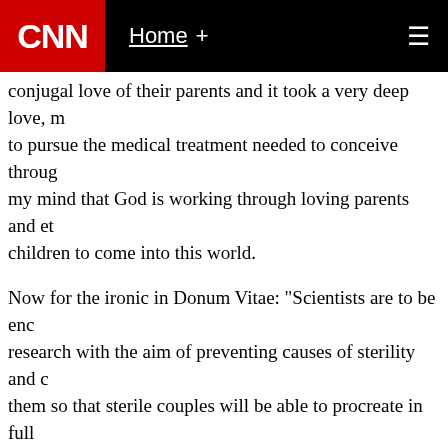CNN | Home +
conjugal love of their parents and it took a very deep love, to pursue the medical treatment needed to conceive through my mind that God is working through loving parents and et children to come into this world.
Now for the ironic in Donum Vitae: "Scientists are to be enc research with the aim of preventing causes of sterility and c them so that sterile couples will be able to procreate in full personal dignity and that of the child to be born."
So although there are solutions for sterile couples today, th because they are outside of the conjugal act? If Carolyn an scientific advances described in this statement before purs we would not have our daughter - or the opportunity to wel into this world this August.
If science can advance to the point that all procreation can of the conjugal act, that would be incredible. But what do c the years and probable decades before these advances co